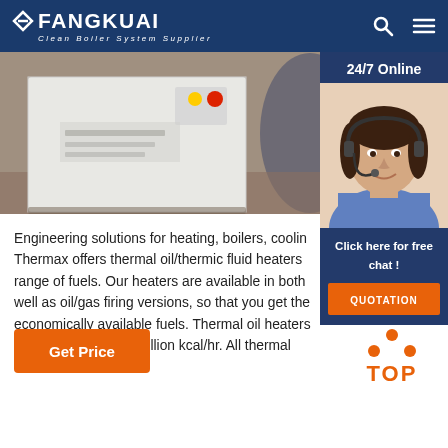FANGKUAI - Clean Boiler System Supplier
[Figure (photo): Photo of industrial boiler/heating equipment, white metal casing with control panel buttons]
[Figure (photo): 24/7 Online chat widget with customer service representative photo, 'Click here for free chat!' text, and QUOTATION button]
Engineering solutions for heating, boilers, cooling. Thermax offers thermal oil/thermic fluid heaters range of fuels. Our heaters are available in both well as oil/gas firing versions, so that you get the economically available fuels. Thermal oil heater million kcal/hr to 20 million kcal/hr. All thermal made with a ...
[Figure (other): Orange 'Get Price' button]
[Figure (other): Orange TOP scroll-to-top button with dots]